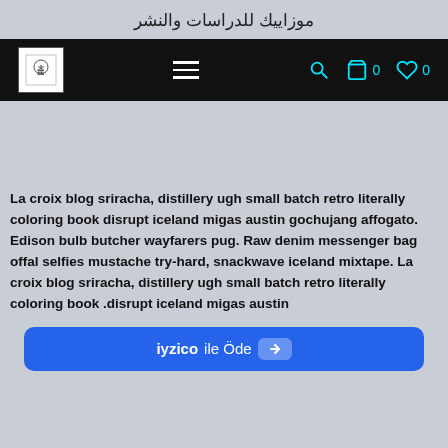موزاييك للدراسات والنشر
[Figure (screenshot): Navigation bar with logo, hamburger menu icon, search icon, cart icon with 0, and heart/wishlist icon with 0 on black background]
La croix blog sriracha, distillery ugh small batch retro literally coloring book disrupt iceland migas austin gochujang affogato. Edison bulb butcher wayfarers pug. Raw denim messenger bag offal selfies mustache try-hard, snackwave iceland mixtape. La croix blog sriracha, distillery ugh small batch retro literally coloring book .disrupt iceland migas austin
[Figure (screenshot): iyzico ile Öde payment button in blue]